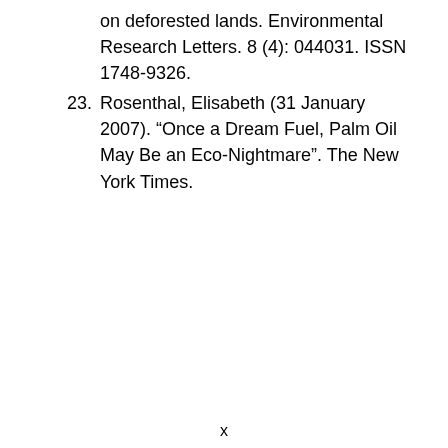on deforested lands. Environmental Research Letters. 8 (4): 044031. ISSN 1748-9326.
23. Rosenthal, Elisabeth (31 January 2007). “Once a Dream Fuel, Palm Oil May Be an Eco-Nightmare”. The New York Times.
x